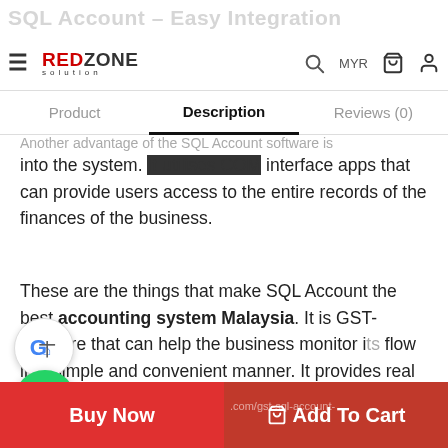SQL Account – Easy Integration | RedZone Solution | MYR
Product   Description   Reviews (0)
into the system. It utilises COM interface apps that can provide users access to the entire records of the finances of the business.
These are the things that make SQL Account the best accounting system Malaysia. It is GST- software that can help the business monitor its flow in a simple and convenient manner. It provides real time data based on the information from different departments or projects.
Visit here for others verwsion of SQL Accounting GST Software
Buy Now   Add To Cart